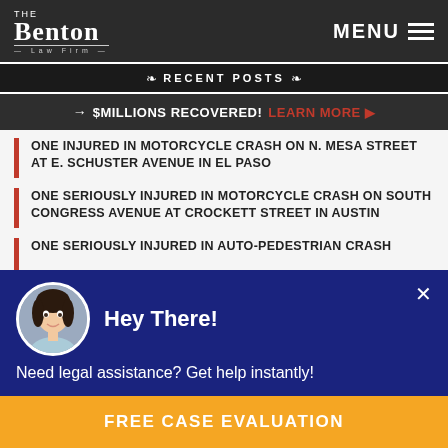THE BENTON LAW FIRM — MENU
RECENT POSTS
→ $MILLIONS RECOVERED! LEARN MORE ▶
ONE INJURED IN MOTORCYCLE CRASH ON N. MESA STREET AT E. SCHUSTER AVENUE IN EL PASO
ONE SERIOUSLY INJURED IN MOTORCYCLE CRASH ON SOUTH CONGRESS AVENUE AT CROCKETT STREET IN AUSTIN
ONE SERIOUSLY INJURED IN AUTO-PEDESTRIAN CRASH
Hey There!
Need legal assistance? Get help instantly!
FREE CASE EVALUATION